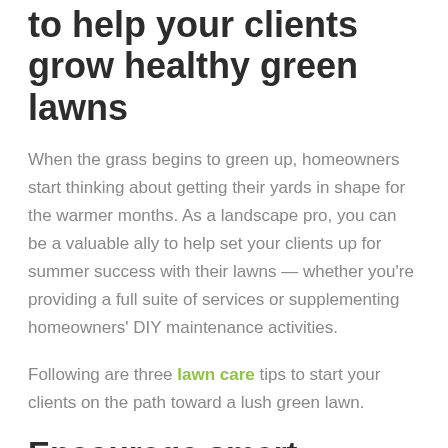Spring lawn care tips to help your clients grow healthy green lawns
When the grass begins to green up, homeowners start thinking about getting their yards in shape for the warmer months. As a landscape pro, you can be a valuable ally to help set your clients up for summer success with their lawns — whether you're providing a full suite of services or supplementing homeowners' DIY maintenance activities.
Following are three lawn care tips to start your clients on the path toward a lush green lawn.
Encourage smart